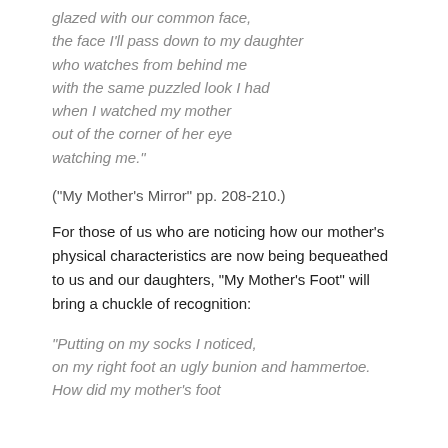glazed with our common face,
the face I'll pass down to my daughter
who watches from behind me
with the same puzzled look I had
when I watched my mother
out of the corner of her eye
watching me."
("My Mother's Mirror" pp. 208-210.)
For those of us who are noticing how our mother's physical characteristics are now being bequeathed to us and our daughters, "My Mother's Foot" will bring a chuckle of recognition:
"Putting on my socks I noticed,
on my right foot an ugly bunion and hammertoe.
How did my mother's foot